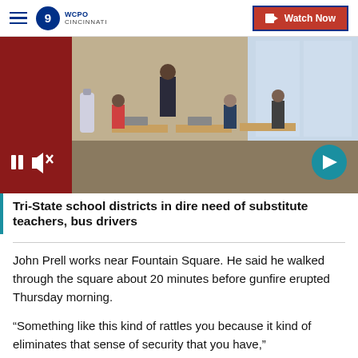WCPO 9 CINCINNATI | Watch Now
[Figure (screenshot): Video player showing a classroom scene with students and a teacher. Video controls (pause and mute buttons) visible at bottom left, and a forward arrow button at bottom right.]
Tri-State school districts in dire need of substitute teachers, bus drivers
John Prell works near Fountain Square. He said he walked through the square about 20 minutes before gunfire erupted Thursday morning.
“Something like this kind of rattles you because it kind of eliminates that sense of security that you have,”